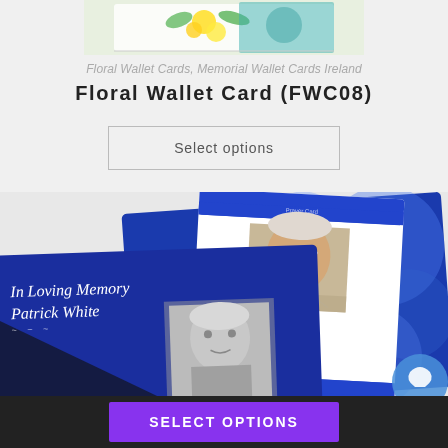[Figure (photo): Top portion of a floral wallet card product image, showing yellow and teal floral design, partially cropped]
Floral Wallet Cards, Memorial Wallet Cards Ireland
Floral Wallet Card (FWC08)
[Figure (screenshot): Button with text 'Select options' inside a thin rectangular outline border]
[Figure (photo): Two memorial wallet cards displayed: left card is dark blue with 'In Loving Memory Patrick White' text and a black-and-white baby photo; right card has a blue floral background with a white inner card showing an elderly smiling man's photo and italic text reading 'Time cannot steal the treasures that we carry in our hearts, for ever dim the shining thoughts out cherished']
[Figure (screenshot): Purple/violet 'SELECT OPTIONS' button in dark bottom bar]